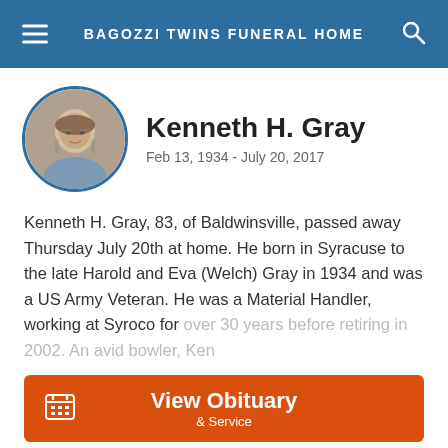BAGOZZI TWINS FUNERAL HOME
Kenneth H. Gray
Feb 13, 1934 - July 20, 2017
Kenneth H. Gray, 83, of Baldwinsville, passed away Thursday July 20th at home. He born in Syracuse to the late Harold and Eva (Welch) Gray in 1934 and was a US Army Veteran. He was a Material Handler, working at Syroco for over 30 years before retiring in 2002. An avid bowler, Ken
View Obituary & Service
Send Flowers